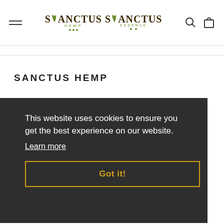Sanctus Hemp / Sanctus Essence — site header with hamburger menu, logo, search icon, and cart icon
SANCTUS HEMP
Search
Contact Us
Terms of Service
Refund Policy
Privacy Policy
This website uses cookies to ensure you get the best experience on our website. Learn more
Got it!
NEWSLETTER